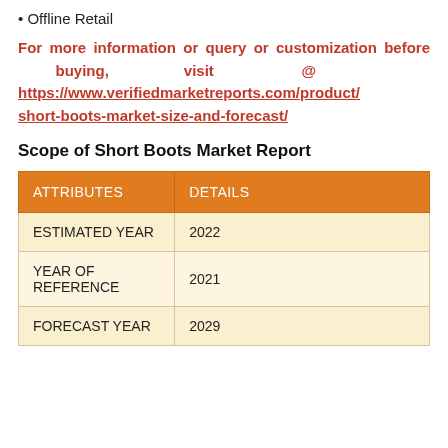• Offline Retail
For more information or query or customization before buying, visit @ https://www.verifiedmarketreports.com/product/short-boots-market-size-and-forecast/
Scope of Short Boots Market Report
| ATTRIBUTES | DETAILS |
| --- | --- |
| ESTIMATED YEAR | 2022 |
| YEAR OF REFERENCE | 2021 |
| FORECAST YEAR | 2029 |